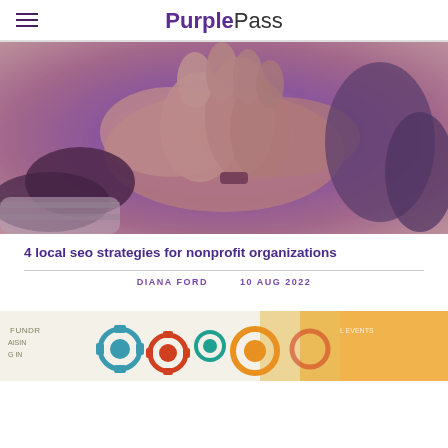PurplePass
[Figure (photo): Multiple hands of diverse people stacked together in a team huddle, with a purple/pink tint overlay]
4 local seo strategies for nonprofit organizations
DIANA FORD   10 AUG 2022
[Figure (photo): Colorful gear/cog illustration on a white background, partially visible at the bottom of the page]